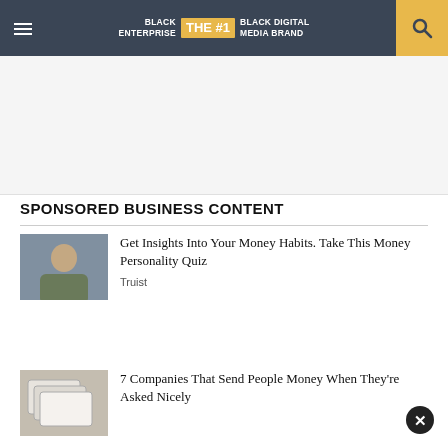BLACK ENTERPRISE THE #1 BLACK DIGITAL MEDIA BRAND
[Figure (other): Advertisement placeholder area (white/light gray background)]
SPONSORED BUSINESS CONTENT
Get Insights Into Your Money Habits. Take This Money Personality Quiz
Truist
7 Companies That Send People Money When They're Asked Nicely